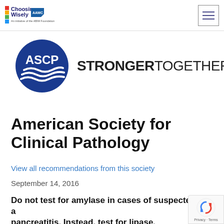Choosing Wisely | ASCP - Stronger Together
[Figure (logo): ASCP Stronger Together logo with blue circle ASCP emblem and bold text 'STRONGER TOGETHER']
American Society for Clinical Pathology
View all recommendations from this society
September 14, 2016
Do not test for amylase in cases of suspected acute pancreatitis. Instead, test for lipase.